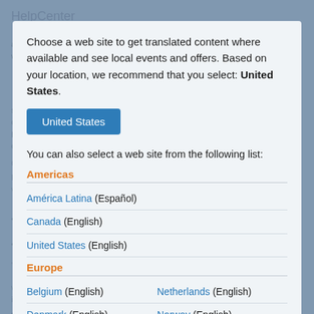Choose a web site to get translated content where available and see local events and offers. Based on your location, we recommend that you select: United States.
[Figure (screenshot): Button labeled 'United States' with blue background]
You can also select a web site from the following list:
Americas
América Latina (Español)
Canada (English)
United States (English)
Europe
Belgium (English)
Netherlands (English)
Denmark (English)
Norway (English)
Deutschland (Deutsch)
Österreich (Deutsch)